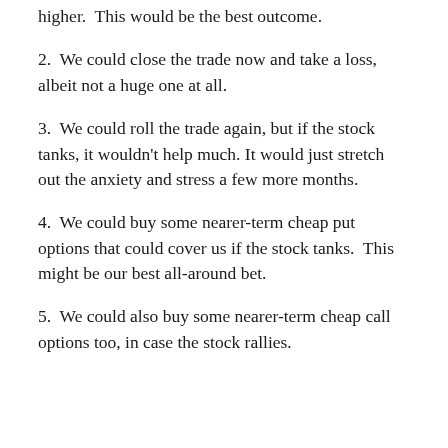higher.  This would be the best outcome.
2.  We could close the trade now and take a loss, albeit not a huge one at all.
3.  We could roll the trade again, but if the stock tanks, it wouldn't help much.  It would just stretch out the anxiety and stress a few more months.
4.  We could buy some nearer-term cheap put options that could cover us if the stock tanks.  This might be our best all-around bet.
5.  We could also buy some nearer-term cheap call options too, in case the stock rallies.